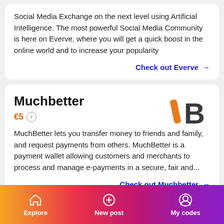Social Media Exchange on the next level using Artificial Intelligence. The most powerful Social Media Community is here on Everve, where you will get a quick boost in the online world and to increase your popularity
Check out Everve →
Muchbetter
[Figure (logo): MuchBetter logo: a stylized letter B with an orange left stroke and dark grey B shape]
€5 ℹ
MuchBetter lets you transfer money to friends and family, and request payments from others. MuchBetter is a payment wallet allowing customers and merchants to process and manage e-payments in a secure, fair and...
Check out Muchbetter →
🎁 invite friends → earn rewards 🎁
Explore   New post   My codes